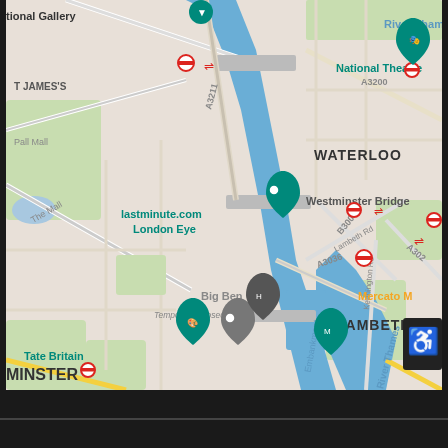[Figure (map): Google Maps screenshot showing central London area including landmarks: National Gallery, St James's, Pall Mall, The Mall, lastminute.com London Eye, WATERLOO, National Theatre, Westminster Bridge, Big Ben (Temporarily closed), Garden Museum, LAMBETH, Tate Britain, Mercato M, River Thames, road labels A3211, A3200, B300, A3036, A302, Lambeth Rd, Kennington Rd, and transport icons (Underground and rail symbols). A wheelchair accessibility icon appears in the bottom-right corner of the map overlay.]